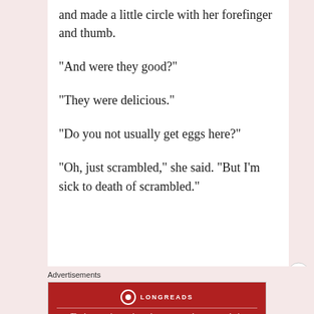and made a little circle with her forefinger and thumb.
“And were they good?”
“They were delicious.”
“Do you not usually get eggs here?”
“Oh, just scrambled,” she said. “But I’m sick to death of scrambled.”
Advertisements
[Figure (other): Longreads advertisement banner: red background with Longreads logo and tagline 'The best stories on the web — ours, and everyone else’s.']